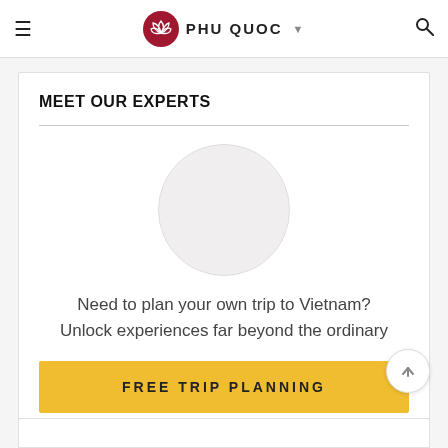PHU QUOC
MEET OUR EXPERTS
[Figure (illustration): Circular avatar placeholder, light grey filled circle representing an expert profile photo]
Need to plan your own trip to Vietnam?
Unlock experiences far beyond the ordinary
FREE TRIP PLANNING